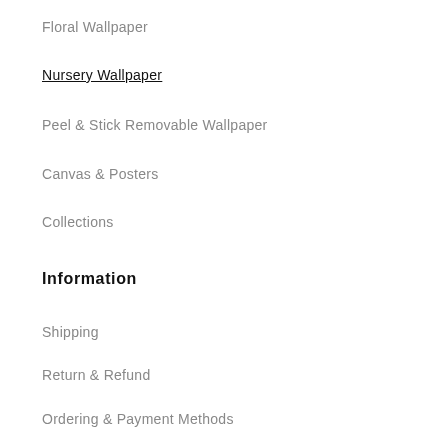Floral Wallpaper
Nursery Wallpaper
Peel & Stick Removable Wallpaper
Canvas & Posters
Collections
Information
Shipping
Return & Refund
Ordering & Payment Methods